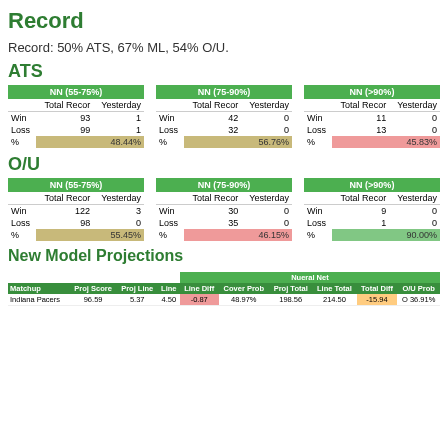Record
Record: 50% ATS, 67% ML, 54% O/U.
ATS
| NN (55-75%) | Total Record | Yesterday |
| --- | --- | --- |
| Win | 93 | 1 |
| Loss | 99 | 1 |
| % | 48.44% |  |
| NN (75-90%) | Total Record | Yesterday |
| --- | --- | --- |
| Win | 42 | 0 |
| Loss | 32 | 0 |
| % | 56.76% |  |
| NN (>90%) | Total Record | Yesterday |
| --- | --- | --- |
| Win | 11 | 0 |
| Loss | 13 | 0 |
| % | 45.83% |  |
O/U
| NN (55-75%) | Total Record | Yesterday |
| --- | --- | --- |
| Win | 122 | 3 |
| Loss | 98 | 0 |
| % | 55.45% |  |
| NN (75-90%) | Total Record | Yesterday |
| --- | --- | --- |
| Win | 30 | 0 |
| Loss | 35 | 0 |
| % | 46.15% |  |
| NN (>90%) | Total Record | Yesterday |
| --- | --- | --- |
| Win | 9 | 0 |
| Loss | 1 | 0 |
| % | 90.00% |  |
New Model Projections
| Matchup | Proj Score | Proj Line | Line | Line Diff | Cover Prob | Proj Total | Line Total | Total Diff | O/U Prob |
| --- | --- | --- | --- | --- | --- | --- | --- | --- | --- |
| Indiana Pacers | 96.59 | 5.37 | 4.50 | -0.87 | 48.97% | 198.56 | 214.50 | -15.94 | O 36.91% |